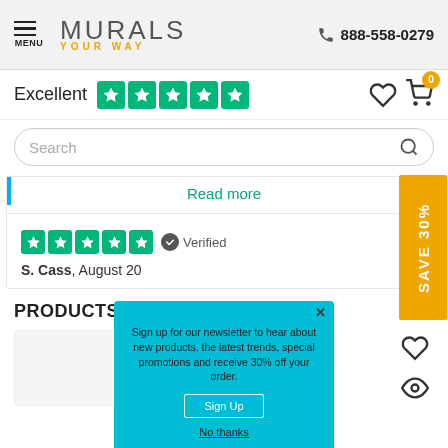[Figure (screenshot): Murals Your Way website header with hamburger menu icon, logo, and phone number 888-558-0279]
Excellent
[Figure (other): Five green Trustpilot stars rating]
[Figure (other): Heart and shopping cart icons with orange badge showing 0]
Search
Read more
[Figure (other): Five green stars rating with Verified badge]
S. Cass, August 20
PRODUCTS YOU MAY ALSO LIKE
Sign up for our newsletter to hear about new products, the latest trends, special promotions and receive 30% off your order.
Sign Up
No thanks